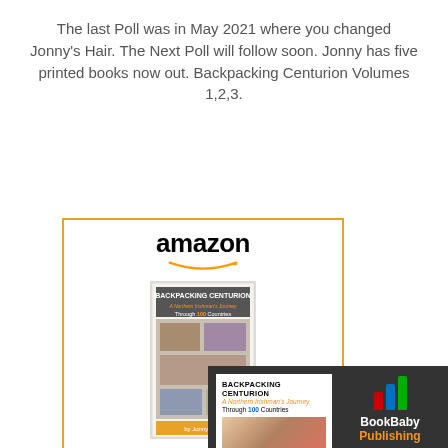The last Poll was in May 2021 where you changed Jonny's Hair. The Next Poll will follow soon. Jonny has five printed books now out. Backpacking Centurion Volumes 1,2,3.
[Figure (screenshot): Amazon product widget showing 'Backpacking Centurion - A...' book for $15.08 with Shop now button]
[Figure (screenshot): BookBaby Publishing widget showing Backpacking Centurion book cover with BookBaby Publishing logo on dark background]